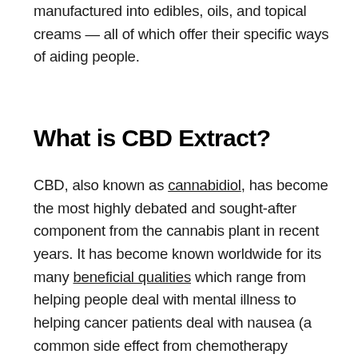manufactured into edibles, oils, and topical creams — all of which offer their specific ways of aiding people.
What is CBD Extract?
CBD, also known as cannabidiol, has become the most highly debated and sought-after component from the cannabis plant in recent years. It has become known worldwide for its many beneficial qualities which range from helping people deal with mental illness to helping cancer patients deal with nausea (a common side effect from chemotherapy